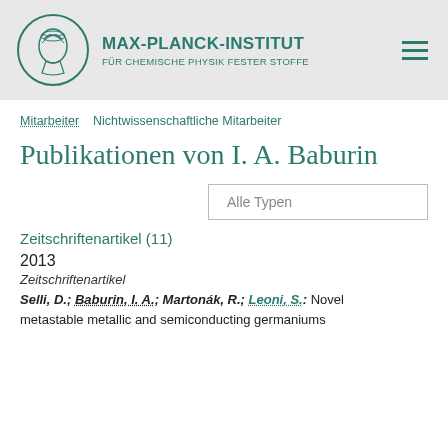[Figure (logo): Max-Planck-Institut logo with circular emblem showing a classical figure, alongside institute name in teal text]
MAX-PLANCK-INSTITUT FÜR CHEMISCHE PHYSIK FESTER STOFFE
Mitarbeiter   Nichtwissenschaftliche Mitarbeiter
Publikationen von I. A. Baburin
Alle Typen
Zeitschriftenartikel (11)
2013
Zeitschriftenartikel
Selli, D.; Baburin, I. A.; Martonák, R.; Leoni, S.: Novel metastable metallic and semiconducting germaniums...